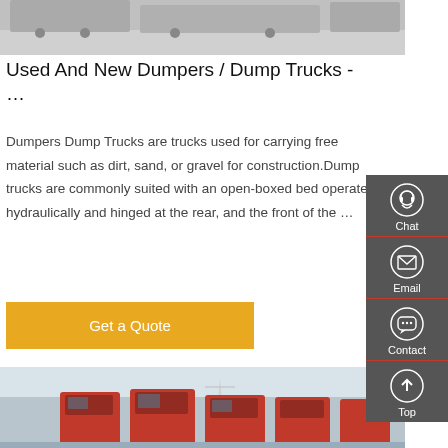[Figure (photo): Gray pavement with trucks/vehicles partially visible at top edge]
Used And New Dumpers / Dump Trucks - …
Dumpers Dump Trucks are trucks used for carrying free material such as dirt, sand, or gravel for construction. Dump trucks are commonly suited with an open-boxed bed operated hydraulically and hinged at the rear, and the front of the …
[Figure (illustration): Orange/gold 'Get a Quote' call-to-action button]
[Figure (photo): Red dump trucks / heavy goods vehicles parked in a row, with electricity pylons in background]